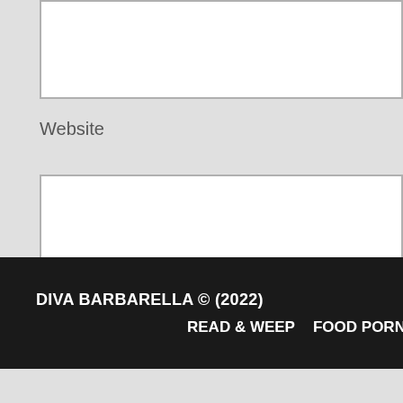[Figure (screenshot): Text input field (top, partially visible) with a red asterisk on the right side]
Website
[Figure (screenshot): Website text input field, empty, white background with gray border]
Save my name, email, and website in this browser for the next time I comme
Post Comment
DIVA BARBARELLA © (2022)  READ & WEEP   FOOD PORN   WATCH & LIST